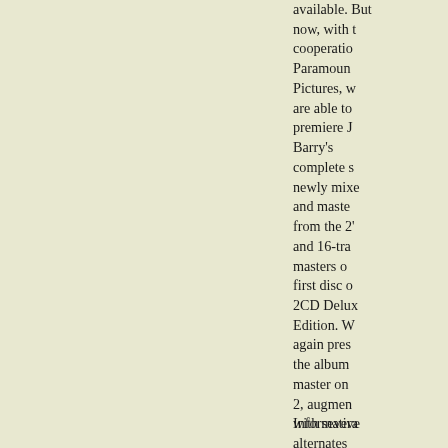available. But now, with the cooperation of Paramount Pictures, we are able to premiere John Barry's complete score, newly mixed and mastered from the 24-track and 16-track masters on the first disc of this 2CD Deluxe Edition. We again present the album master on disc 2, augmented with several alternates to make this the most complete possible representation of Barry's e
Informative